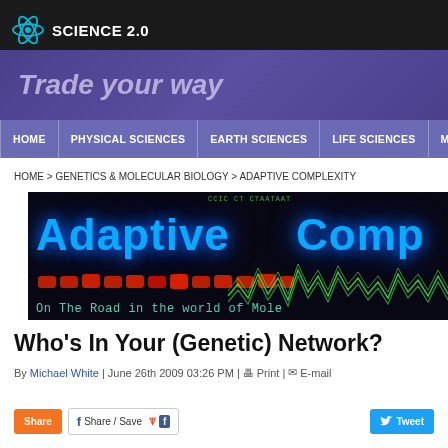SCIENCE 2.0
[Figure (illustration): Purple/violet advertisement banner with text 'Trade your way']
HOME | PHYSICAL SCIENCES | EARTH SCIENCES | LIFE SCIENCES | MEDICINE
HOME > GENETICS & MOLECULAR BIOLOGY > ADAPTIVE COMPLEXITY
[Figure (illustration): Dark background header image for 'Adaptive Complexity' blog with blue glowing text 'Adaptive Comp' and subtitle 'On The Road in the world of Mole' with red data dots and green waveform lines]
Who's In Your (Genetic) Network?
By Michael White | June 26th 2009 03:26 PM | Print | E-mail
Share / Save